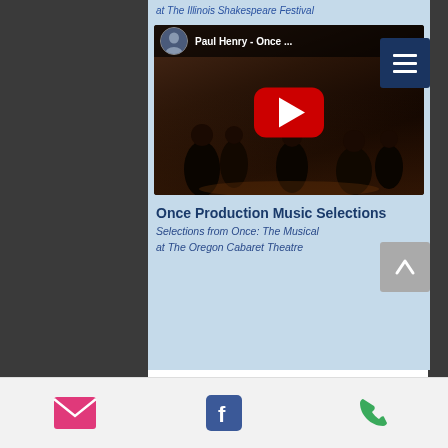at The Illinois Shakespeare Festival
[Figure (screenshot): YouTube video thumbnail showing 'Paul Henry - Once ...' with a theater production scene of Once: The Musical with performers on stage, a circular avatar of a man in the top-left, and a large red YouTube play button in the center.]
Once Production Music Selections
Selections from Once: The Musical
at The Oregon Cabaret Theatre
Email | Facebook | Phone icons